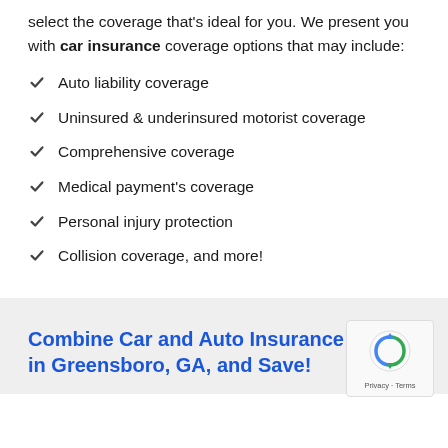select the coverage that's ideal for you. We present you with car insurance coverage options that may include:
Auto liability coverage
Uninsured & underinsured motorist coverage
Comprehensive coverage
Medical payment's coverage
Personal injury protection
Collision coverage, and more!
Combine Car and Auto Insurance in Greensboro, GA, and Save!